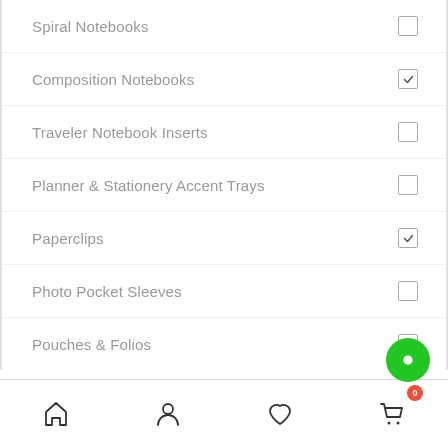Spiral Notebooks
Composition Notebooks
Traveler Notebook Inserts
Planner & Stationery Accent Trays
Paperclips
Photo Pocket Sleeves
Pouches & Folios
Divider Kits
Planner Refills
Charms
Gift Cards
Home | Account | Favorites | Cart (0)